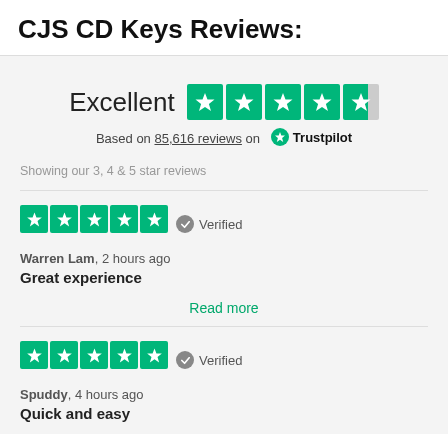CJS CD Keys Reviews:
[Figure (other): Trustpilot rating widget showing Excellent rating with 4.5 green stars, based on 85,616 reviews on Trustpilot]
Showing our 3, 4 & 5 star reviews
[Figure (other): 5 green Trustpilot stars with Verified badge]
Warren Lam, 2 hours ago
Great experience
Read more
[Figure (other): 5 green Trustpilot stars with Verified badge]
Spuddy, 4 hours ago
Quick and easy